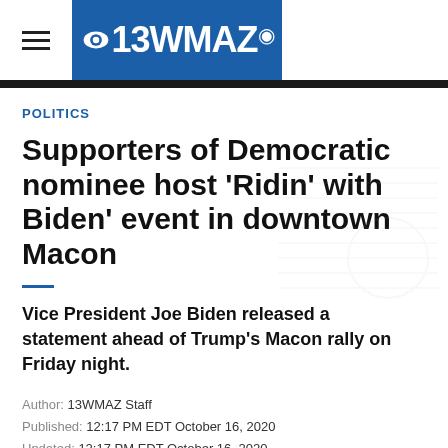13WMAZ
POLITICS
Supporters of Democratic nominee host 'Ridin' with Biden' event in downtown Macon
Vice President Joe Biden released a statement ahead of Trump's Macon rally on Friday night.
Author: 13WMAZ Staff
Published: 12:17 PM EDT October 16, 2020
Updated: 12:17 PM EDT October 16, 2020
MACON, Ga. — Supporters of Democratic nominee Joe Biden are holding their own event in downtown Macon on